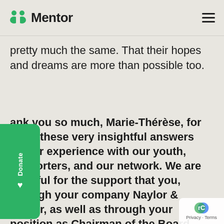Mentor
pretty much the same. That their hopes and dreams are more than possible too.
Thank you so much, Marie-Thérèse, for sharing these very insightful answers and your experience with our youth, supporters, and our network. We are grateful for the support that you, through your company Naylor & Naylor, as well as through your position as Chairman of the Board, provide Mentor Foundation USA!